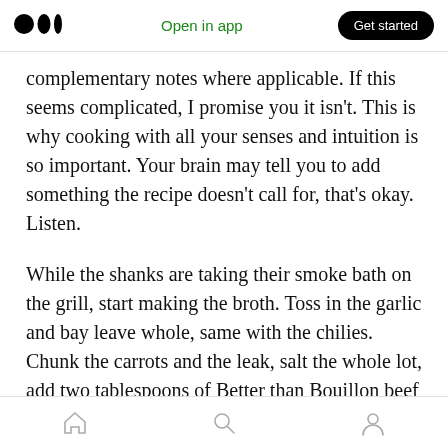Medium logo | Open in app | Get started
complementary notes where applicable. If this seems complicated, I promise you it isn't. This is why cooking with all your senses and intuition is so important. Your brain may tell you to add something the recipe doesn't call for, that's okay. Listen.
While the shanks are taking their smoke bath on the grill, start making the broth. Toss in the garlic and bay leave whole, same with the chilies. Chunk the carrots and the leak, salt the whole lot, add two tablespoons of Better than Bouillon beef base and bring the whole pot to a simmer.
Home | Search | Profile